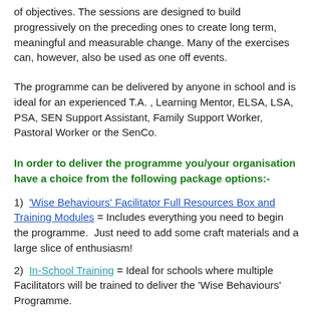of objectives.  The sessions are designed to build progressively on the preceding ones to create long term, meaningful and measurable change. Many of the exercises can, however, also be used as one off events.
The programme can be delivered by anyone in school and is ideal for an experienced T.A. , Learning Mentor, ELSA, LSA, PSA, SEN Support Assistant, Family Support Worker, Pastoral Worker or the SenCo.
In order to deliver the programme you/your organisation have a choice from the following package options:-
1)  'Wise Behaviours' Facilitator Full Resources Box and Training Modules = Includes everything you need to begin the programme.  Just need to add some craft materials and a large slice of enthusiasm!
2)  In-School Training = Ideal for schools where multiple Facilitators will be trained to deliver the 'Wise Behaviours' Programme.